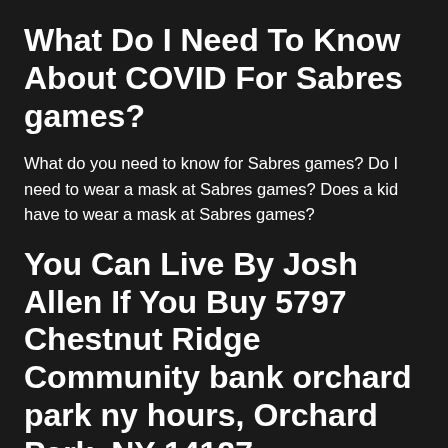What Do I Need To Know About COVID For Sabres games?
What do you need to know for Sabres games? Do I need to wear a mask at Sabres games? Does a kid have to wear a mask at Sabres games?
You Can Live By Josh Allen If You Buy 5797 Chestnut Ridge Community bank orchard park ny hours, Orchard Park, NY 14127
Where does Josh Allen live? You can live by him if you buy 5797 Chestnut Ridge Rd, Orchard Park, NY 14127 that is...